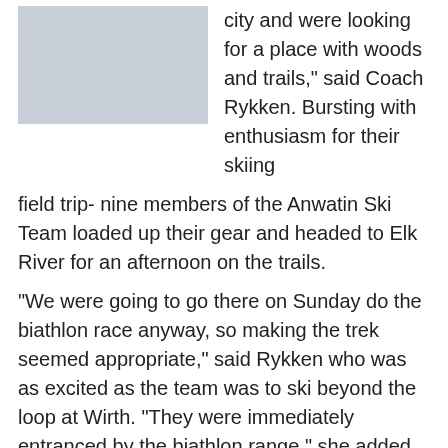[Figure (photo): A person on skis holding ski poles, standing in a snowy landscape, wearing dark jacket and gray pants.]
city and were looking for a place with woods and trails," said Coach Rykken. Bursting with enthusiasm for their skiing field trip- nine members of the Anwatin Ski Team loaded up their gear and headed to Elk River for an afternoon on the trails.
"We were going to go there on Sunday do the biathlon race anyway, so making the trek seemed appropriate," said Rykken who was as excited as the team was to ski beyond the loop at Wirth. "They were immediately entranced by the biathlon range," she added. All the kids on the team had experienced biathlon first hand earlier in the season on their winter training trip where they participated in a biathlon competition at Mt. Itasca State Park. Muaj Xiong was eager to hit the range and began demonstrating his marksmanship abilities with his pellets. Coach Rykken who is a veteran cross